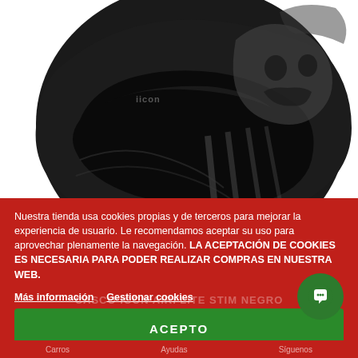[Figure (photo): Black motorcycle helmet (Icon Airflite Stim) with dark visor and skull/graphic design, photographed on white background, cropped to show top and side portion.]
Nuestra tienda usa cookies propias y de terceros para mejorar la experiencia de usuario. Le recomendamos aceptar su uso para aprovechar plenamente la navegación. LA ACEPTACIÓN DE COOKIES ES NECESARIA PARA PODER REALIZAR COMPRAS EN NUESTRA WEB.
Más información   Gestionar cookies
CASCO ICON AIRFLITE STIM NEGRO
ACEPTO
Carros   Ayudas   Síguenos